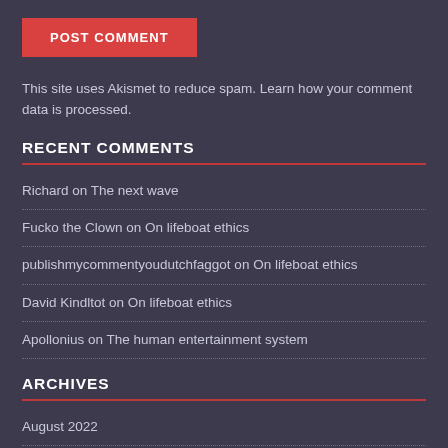POST COMMENT
This site uses Akismet to reduce spam. Learn how your comment data is processed.
RECENT COMMENTS
Richard on The next wave
Fucko the Clown on On lifeboat ethics
publishmycommentyoudutchfaggot on On lifeboat ethics
David Kindltot on On lifeboat ethics
Apollonius on The human entertainment system
ARCHIVES
August 2022
July 2022